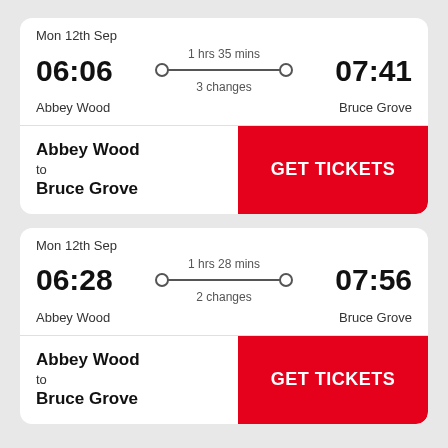Mon 12th Sep
1 hrs 35 mins
06:06
07:41
3 changes
Abbey Wood
Bruce Grove
Abbey Wood
to
Bruce Grove
GET TICKETS
Mon 12th Sep
1 hrs 28 mins
06:28
07:56
2 changes
Abbey Wood
Bruce Grove
Abbey Wood
to
Bruce Grove
GET TICKETS